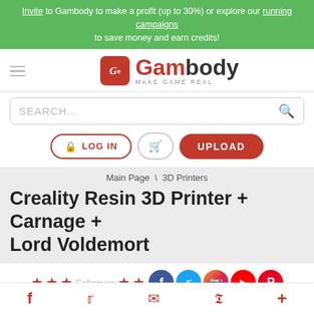Invite to Gambody to make a profit (up to 30%) or explore our running campaigns to save money and earn credits!
[Figure (logo): Gambody logo with hamburger menu icon, red 'Ge' square icon and 'Gambody MAKE GAME REAL' logotype]
SEARCH...
LOG IN  UPLOAD
Main Page \ 3D Printers
Creality Resin 3D Printer + Carnage + Lord Voldemort
Follow us ★★★★★ (social icons: Facebook, Twitter, Instagram, YouTube, Pinterest)
AVERAGE  2  1
Facebook  Twitter  Email  Pinterest  More